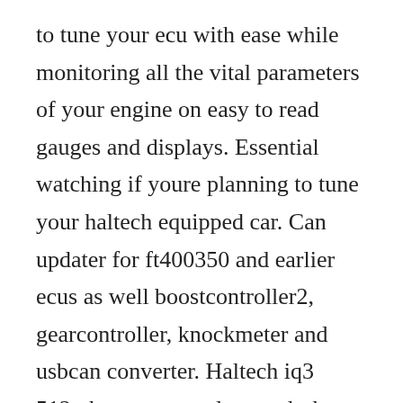to tune your ecu with ease while monitoring all the vital parameters of your engine on easy to read gauges and displays. Essential watching if youre planning to tune your haltech equipped car. Can updater for ft400350 and earlier ecus as well boostcontroller2, gearcontroller, knockmeter and usbcan converter. Haltech iq3 512mb gps gmeter logger dash reads vnet sensors and includes internal can interface module to read haltech ecu infosensors.
The contents of the download are original and